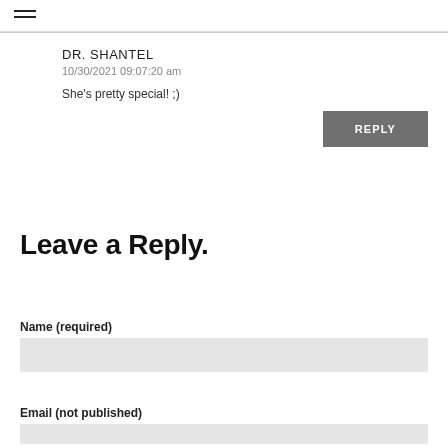DR. SHANTEL
10/30/2021 09:07:20 am
She's pretty special! ;)
REPLY
Leave a Reply.
Name (required)
Email (not published)